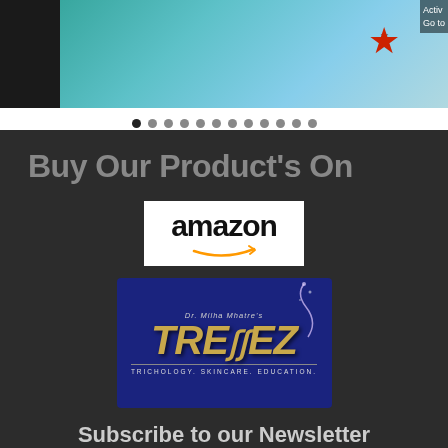[Figure (screenshot): Slider image with teal/blue background, small dark star and large red star, with partial overlay text 'Activ / Go to']
[Figure (other): Pagination dots — 12 dots, first dot filled/active, rest gray]
Buy Our Product's On
[Figure (logo): Amazon logo — black text 'amazon' with orange smile arrow beneath, on white background]
[Figure (logo): Tressez logo — Dr. Milha Mhatre's Tressez, Trichology. Skincare. Education. Gold letters on dark blue background with decorative swirl]
Subscribe to our Newsletter